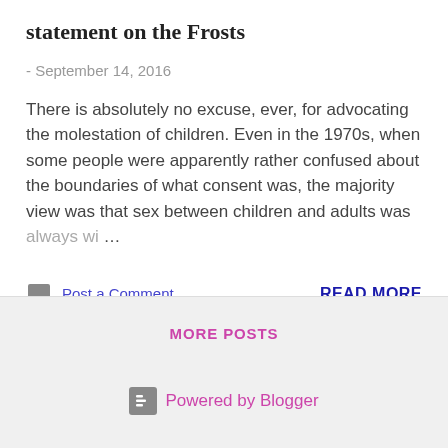statement on the Frosts
- September 14, 2016
There is absolutely no excuse, ever, for advocating the molestation of children. Even in the 1970s, when some people were apparently rather confused about the boundaries of what consent was, the majority view was that sex between children and adults was always wi… …
Post a Comment
READ MORE
MORE POSTS
Powered by Blogger